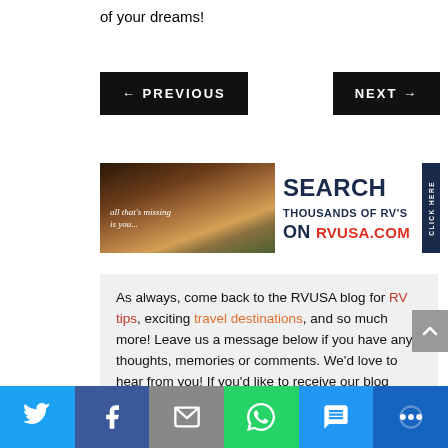of your dreams!
[Figure (screenshot): Navigation buttons: PREVIOUS (left arrow) and NEXT (right arrow) on black backgrounds]
[Figure (infographic): RVUSA.com advertisement banner: photo of campsite with text 'all that's missing is you...' and 'SEARCH THOUSANDS OF RV'S ON RVUSA.COM' with CLICK HERE badge]
As always, come back to the RVUSA blog for RV tips, exciting travel destinations, and so much more! Leave us a message below if you have any thoughts, memories or comments. We'd love to hear from you! If you'd like to receive our blog posts directly in your inbox,
[Figure (screenshot): Social sharing bar with Twitter, Facebook, Email, WhatsApp, SMS, and more share buttons]